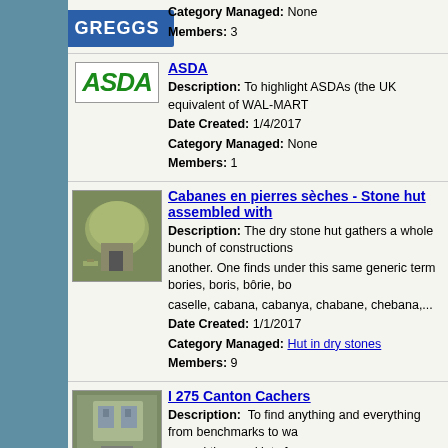GREGGS - Category Managed: None, Members: 3
ASDA - Description: To highlight ASDAs (the UK equivalent of WAL-MART... Date Created: 1/4/2017, Category Managed: None, Members: 1
Cabanes en pierres sèches - Stone hut assembled with... Description: The dry stone hut gathers a whole bunch of constructions another. One finds under this same generic term bories, boris, bôrie, bo... caselle, cabana, cabanya, chabane, chebana,... Date Created: 1/1/2017, Category Managed: Hut in dry stones, Members: 9
I 275 Canton Cachers - Description: To find anything and everything from benchmarks to wa... a good time and lots fun. Date Created: 12/27/2016, Category Managed: None, Members: 3